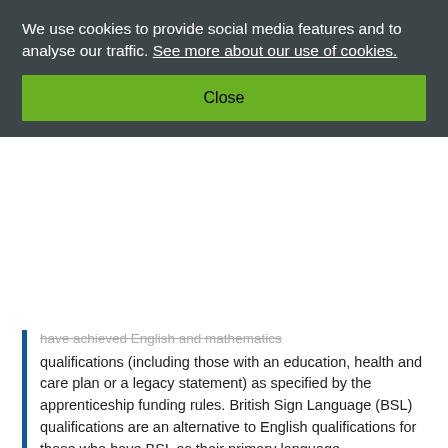We use cookies to provide social media features and to analyse our traffic. See more about our use of cookies.
Close
have achieved English and mathematics qualifications (including those with an education, health and care plan or a legacy statement) as specified by the apprenticeship funding rules. British Sign Language (BSL) qualifications are an alternative to English qualifications for those who have BSL as their primary language.
For the professional discussion underpinned by portfolio you must submit: portfolio of evidence
Portfolio of evidence requirements:
Apprentices must compile a portfolio of evidence during the on-programme period of the apprenticeship. It should contain evidence related to